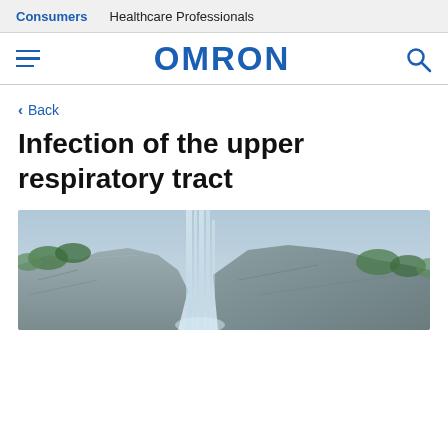Consumers | Healthcare Professionals
[Figure (logo): OMRON logo with hamburger menu and search icon]
< Back
Infection of the upper respiratory tract
[Figure (photo): Waterfall and rocky cliff with green foliage, landscape photo used as article hero image]